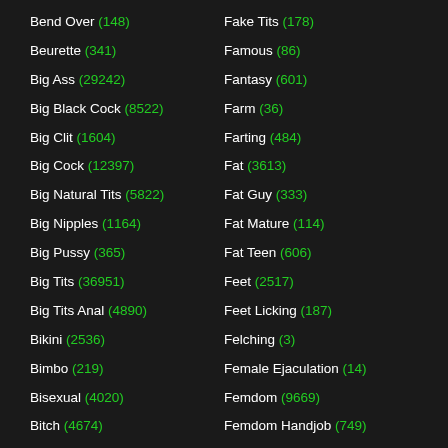Bend Over (148)
Beurette (341)
Big Ass (29242)
Big Black Cock (8522)
Big Clit (1604)
Big Cock (12397)
Big Natural Tits (5822)
Big Nipples (1164)
Big Pussy (365)
Big Tits (36951)
Big Tits Anal (4890)
Bikini (2536)
Bimbo (219)
Bisexual (4020)
Bitch (4674)
Bizarre (434)
Fake Tits (178)
Famous (86)
Fantasy (601)
Farm (36)
Farting (484)
Fat (3613)
Fat Guy (333)
Fat Mature (114)
Fat Teen (606)
Feet (2517)
Feet Licking (187)
Felching (3)
Female Ejaculation (14)
Femdom (9669)
Femdom Handjob (749)
Femdom POV (2645)